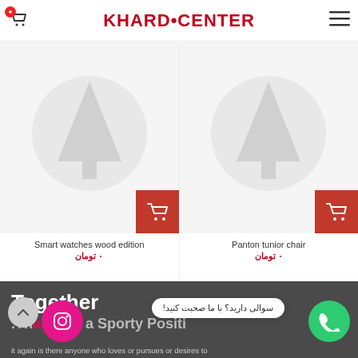KHARD.CENTER
[Figure (illustration): Product card 1: Smart watches wood edition with placeholder tree/circle icon and red add-to-cart button]
Smart watches wood edition
۰ تومان
[Figure (illustration): Product card 2: Panton tunior chair with placeholder tree/circle icon and red add-to-cart button]
Panton tunior chair
۰ تومان
Together .Th affords a Sporty Positi
it again is there anyone who loves or pursues or desires to